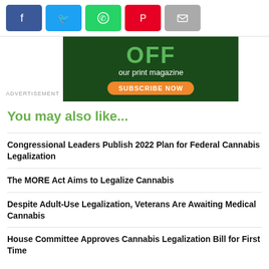[Figure (other): Social share buttons: Facebook (blue), Twitter (light blue), WhatsApp (green), Pinterest (red), Email (gray)]
[Figure (infographic): Advertisement banner for print magazine subscription: dark green background with cannabis leaves, large green text 'OFF', white text 'our print magazine', orange button 'SUBSCRIBE NOW']
ADVERTISEMENT
You may also like...
Congressional Leaders Publish 2022 Plan for Federal Cannabis Legalization
The MORE Act Aims to Legalize Cannabis
Despite Adult-Use Legalization, Veterans Are Awaiting Medical Cannabis
House Committee Approves Cannabis Legalization Bill for First Time